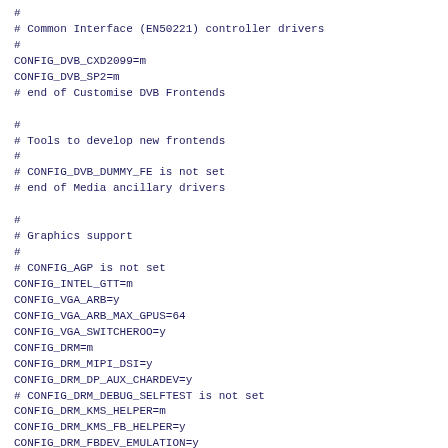#
# Common Interface (EN50221) controller drivers
#
CONFIG_DVB_CXD2099=m
CONFIG_DVB_SP2=m
# end of Customise DVB Frontends

#
# Tools to develop new frontends
#
# CONFIG_DVB_DUMMY_FE is not set
# end of Media ancillary drivers

#
# Graphics support
#
# CONFIG_AGP is not set
CONFIG_INTEL_GTT=m
CONFIG_VGA_ARB=y
CONFIG_VGA_ARB_MAX_GPUS=64
CONFIG_VGA_SWITCHEROO=y
CONFIG_DRM=m
CONFIG_DRM_MIPI_DSI=y
CONFIG_DRM_DP_AUX_CHARDEV=y
# CONFIG_DRM_DEBUG_SELFTEST is not set
CONFIG_DRM_KMS_HELPER=m
CONFIG_DRM_KMS_FB_HELPER=y
CONFIG_DRM_FBDEV_EMULATION=y
CONFIG_DRM_FBDEV_OVERALLOC=100
CONFIG_DRM_LOAD_EDID_FIRMWARE=y